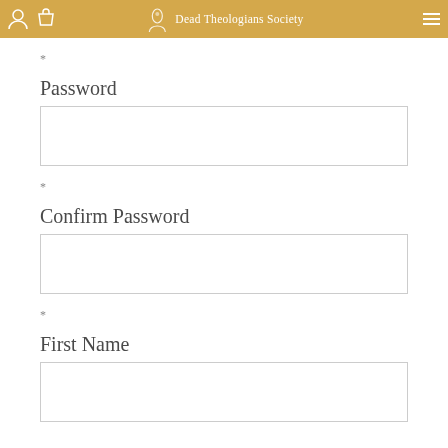Dead Theologians Society
*
Password
*
Confirm Password
*
First Name